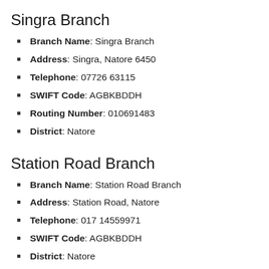Singra Branch
Branch Name: Singra Branch
Address: Singra, Natore 6450
Telephone: 07726 63115
SWIFT Code: AGBKBDDH
Routing Number: 010691483
District: Natore
Station Road Branch
Branch Name: Station Road Branch
Address: Station Road, Natore
Telephone: 017 14559971
SWIFT Code: AGBKBDDH
District: Natore